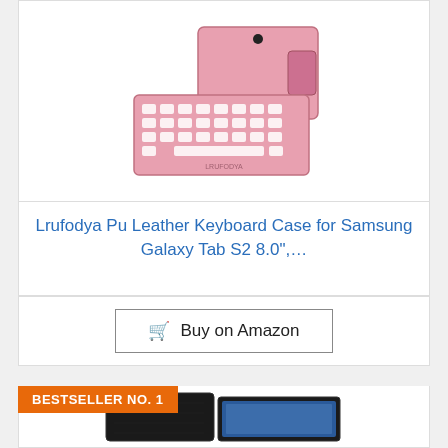[Figure (photo): Pink PU leather keyboard case for Samsung Galaxy Tab S2 8.0, shown open with keyboard visible and tablet attached]
Lrufodya Pu Leather Keyboard Case for Samsung Galaxy Tab S2 8.0",...
🛒 Buy on Amazon
BESTSELLER NO. 1
[Figure (photo): Black leather keyboard case for a Samsung Galaxy Tab tablet, shown partially open with tablet screen visible]